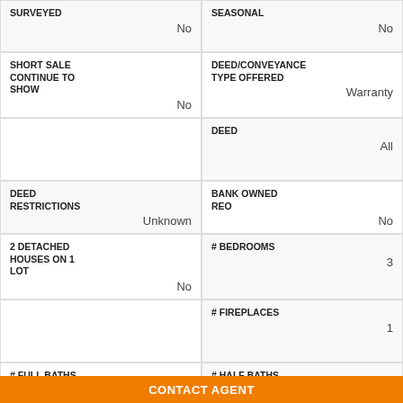| SURVEYED | No | SEASONAL | No |
| SHORT SALE CONTINUE TO SHOW | No | DEED/CONVEYANCE TYPE OFFERED | Warranty |
|  |  | DEED | All |
| DEED RESTRICTIONS | Unknown | BANK OWNED REO | No |
| 2 DETACHED HOUSES ON 1 LOT | No | # BEDROOMS | 3 |
|  |  | # FIREPLACES | 1 |
| # FULL BATHS BASEMENT | 0 | # HALF BATHS BASEMENT | 0 |
CONTACT AGENT